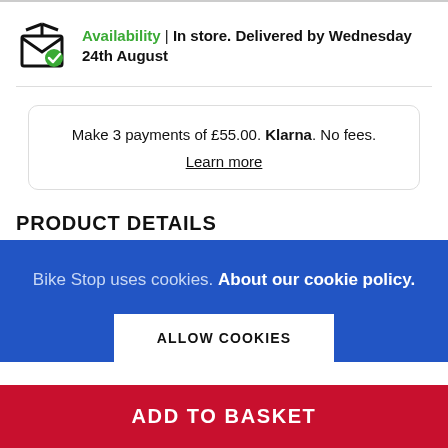Availability | In store. Delivered by Wednesday 24th August
Make 3 payments of £55.00. Klama. No fees. Learn more
PRODUCT DETAILS
Bike Stop uses cookies. About our cookie policy.
ALLOW COOKIES
ADD TO BASKET